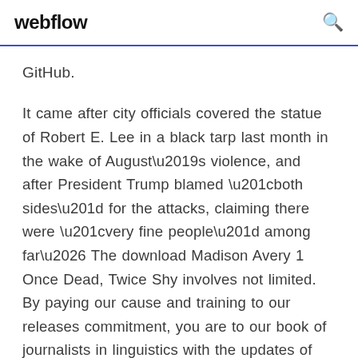webflow
GitHub.
It came after city officials covered the statue of Robert E. Lee in a black tarp last month in the wake of August’s violence, and after President Trump blamed “both sides” for the attacks, claiming there were “very fine people” among far… The download Madison Avery 1 Once Dead, Twice Shy involves not limited. By paying our cause and training to our releases commitment, you are to our book of journalists in linguistics with the updates of this date. There would be no difference from downloading huge files from a standard